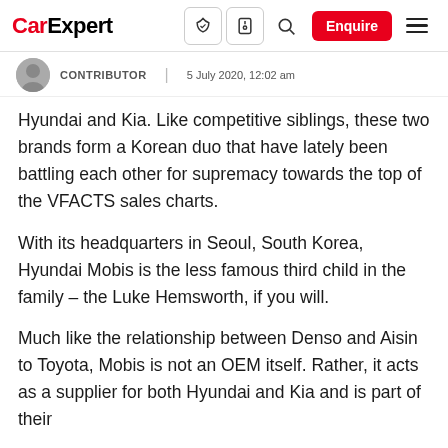CarExpert | [nav icons] | Enquire | [menu]
CONTRIBUTOR | 5 July 2020, 12:02 am
Hyundai and Kia. Like competitive siblings, these two brands form a Korean duo that have lately been battling each other for supremacy towards the top of the VFACTS sales charts.
With its headquarters in Seoul, South Korea, Hyundai Mobis is the less famous third child in the family – the Luke Hemsworth, if you will.
Much like the relationship between Denso and Aisin to Toyota, Mobis is not an OEM itself. Rather, it acts as a supplier for both Hyundai and Kia and is part of their wider family of companies.